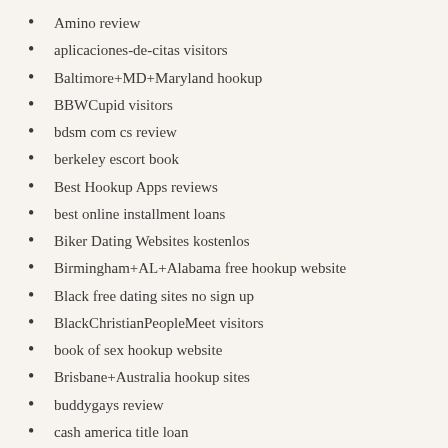Amino review
aplicaciones-de-citas visitors
Baltimore+MD+Maryland hookup
BBWCupid visitors
bdsm com cs review
berkeley escort book
Best Hookup Apps reviews
best online installment loans
Biker Dating Websites kostenlos
Birmingham+AL+Alabama free hookup website
Black free dating sites no sign up
BlackChristianPeopleMeet visitors
book of sex hookup website
Brisbane+Australia hookup sites
buddygays review
cash america title loan
cash installment loans
Catholic Singles visitors
ChatAvenue visitors
citas-coreanas visitors
Cleveland+OH+Ohio review
clover visitors
companiesthat offer payday loans